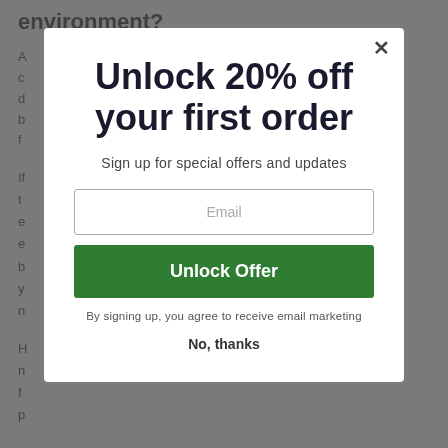environment?
A ... c ... d ... b ... f ...
If ... t ... e ... e ... b ... y ... n ...
H ... n ... f ... p ...
The problem with disposable cups
[Figure (screenshot): Modal popup overlay with promotional offer: 'Unlock 20% off your first order', email signup field, green 'Unlock Offer' button, close X button, and 'No, thanks' link]
Unlock 20% off your first order
Sign up for special offers and updates
Email
Unlock Offer
By signing up, you agree to receive email marketing
No, thanks